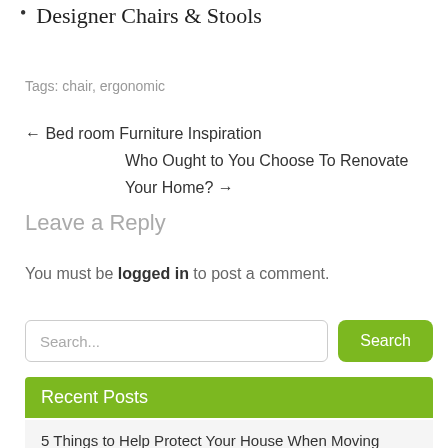Designer Chairs & Stools
Tags: chair, ergonomic
← Bed room Furniture Inspiration
Who Ought to You Choose To Renovate Your Home? →
Leave a Reply
You must be logged in to post a comment.
Search...
Recent Posts
5 Things to Help Protect Your House When Moving Furniture
4 Great Reasons Why You Should Use Solventless